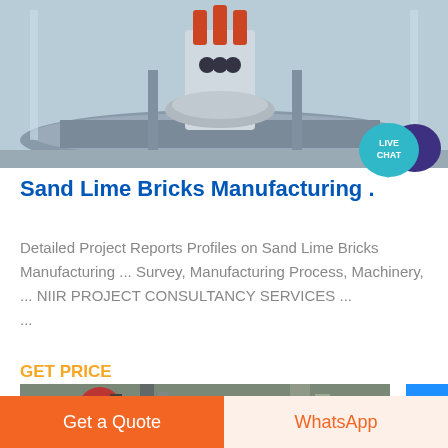[Figure (photo): Industrial machinery equipment in a factory setting, showing rotating/mixing industrial equipment on a circular platform with glass walls]
[Figure (illustration): Live Chat speech bubble icon in teal/purple colors with 'LIVE CHAT' text]
Sand Lime Bricks Manufacturing .
Detailed Project Reports Profiles on Sand Lime Bricks Manufacturing ... Survey, Manufacturing Process, Machinery, ... NIIR PROJECT CONSULTANCY SERVICES ...
GET PRICE
[Figure (photo): Industrial grinding/milling machinery inside a manufacturing facility]
Get a Quote
WhatsApp